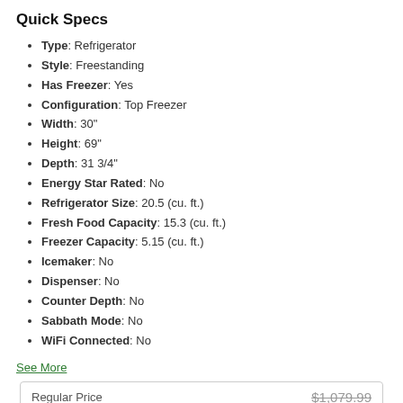Quick Specs
Type: Refrigerator
Style: Freestanding
Has Freezer: Yes
Configuration: Top Freezer
Width: 30"
Height: 69"
Depth: 31 3/4"
Energy Star Rated: No
Refrigerator Size: 20.5 (cu. ft.)
Fresh Food Capacity: 15.3 (cu. ft.)
Freezer Capacity: 5.15 (cu. ft.)
Icemaker: No
Dispenser: No
Counter Depth: No
Sabbath Mode: No
WiFi Connected: No
See More
| Regular Price | $1,079.99 |
| --- | --- |
| Call for Our Best Price |  |
Call for Our Best Price